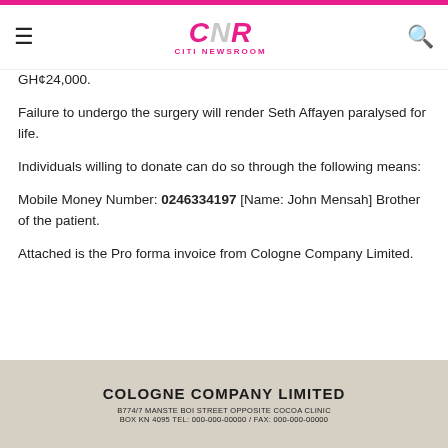CNR CITI NEWSROOM
GH¢24,000.
Failure to undergo the surgery will render Seth Affayen paralysed for life.
Individuals willing to donate can do so through the following means:
Mobile Money Number: 0246334197 [Name: John Mensah] Brother of the patient.
Attached is the Pro forma invoice from Cologne Company Limited.
[Figure (photo): Pro forma invoice from Cologne Company Limited showing company name and address: B774/7 MANSTE BOI STREET OPPOSITE COCOA CLINIC]